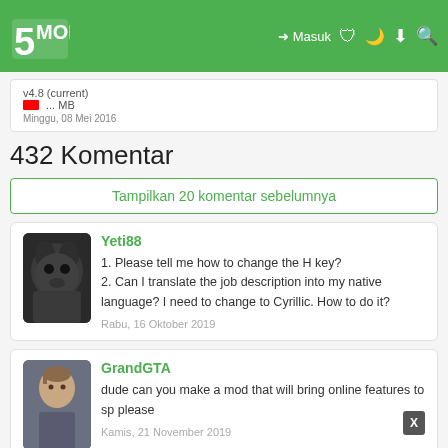5MODS — Masuk
v4.8 (current) ... MB
Minggu, 08 Mei 2016
432 Komentar
Tampilkan 20 komentar sebelumnya
Yeti88
1. Please tell me how to change the H key?
2. Can I translate the job description into my native language? I need to change to Cyrillic. How to do it?
Rabu, 16 Oktober 2019
GrandGTA
dude can you make a mod that will bring online features to sp please
Kamis, 21 November 2019
nightcrawlerfan1996